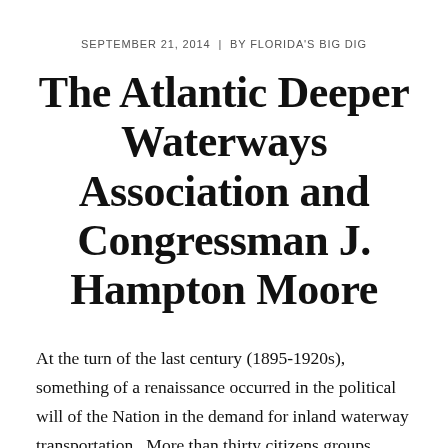SEPTEMBER 21, 2014  |  BY FLORIDA'S BIG DIG
The Atlantic Deeper Waterways Association and Congressman J. Hampton Moore
At the turn of the last century (1895-1920s), something of a renaissance occurred in the political will of the Nation in the demand for inland waterway transportation.  More than thirty citizens groups coalesced from all over the country to demand waterway construction to challenge not only the confiscatory